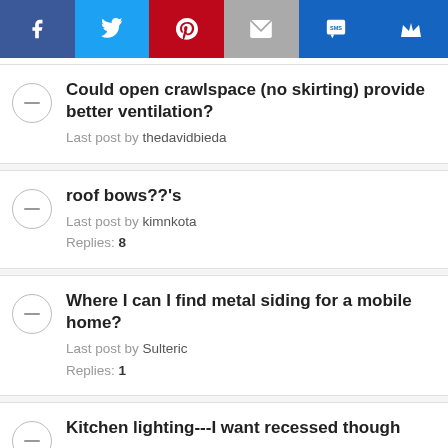[Figure (screenshot): Social media share bar with Facebook, Twitter, Pinterest, Email, SMS, and Crown icons]
Could open crawlspace (no skirting) provide better ventilation? Last post by thedavidbieda
roof bows??'s Last post by kimnkota Replies: 8
Where I can I find metal siding for a mobile home? Last post by Sulteric Replies: 1
Kitchen lighting---I want recessed though Last post by Sulteric Replies: 7
Electric water heater, standard VS. MH specific Last post by Sulteric Replies: 1